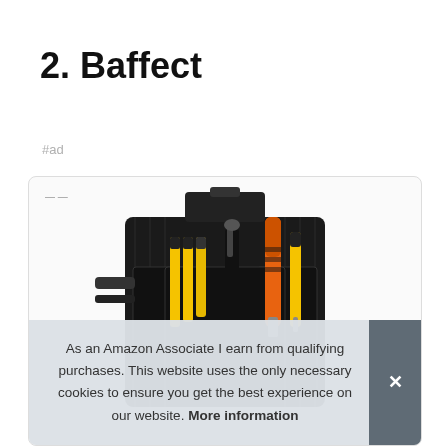2. Baffect
#ad
[Figure (photo): Product image of a tool bag/pouch with various tools including screwdrivers with orange and black handles, yellow-handled tools, and black fabric storage pockets, shown inside a product card with rounded border.]
As an Amazon Associate I earn from qualifying purchases. This website uses the only necessary cookies to ensure you get the best experience on our website. More information